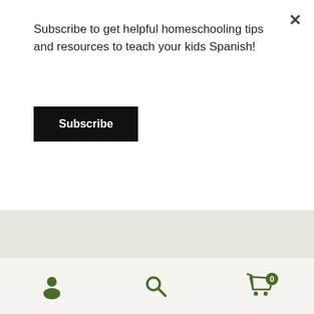Subscribe to get helpful homeschooling tips and resources to teach your kids Spanish!
Subscribe
it and mold it to fit your exact needs.
Without further ado, here it is:
Our Curriculum Choices
(Sons 3 and 11 years old)